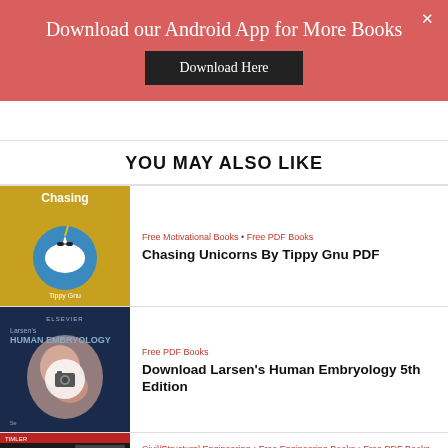Download our Android App for More Books
Download Here
YOU MAY ALSO LIKE
[Figure (photo): Book cover: Chasing Unicorns by Tippy Gnu — gold background with unicorn illustration]
Free Motivational Books • Free PDF Books
Chasing Unicorns By Tippy Gnu PDF
[Figure (photo): Book cover: Larsen's Human Embryology 5th Edition — dark blue cover with fetal image and camera icon overlay]
Free PDF Books
Download Larsen's Human Embryology 5th Edition
[Figure (photo): Book cover: Steel Designers' Manual — dark cover with steel structure image]
Civil/Structural Engineering • Free Engineering Books • Free PDF Books
Steel Designers' Manual PDF Seventh